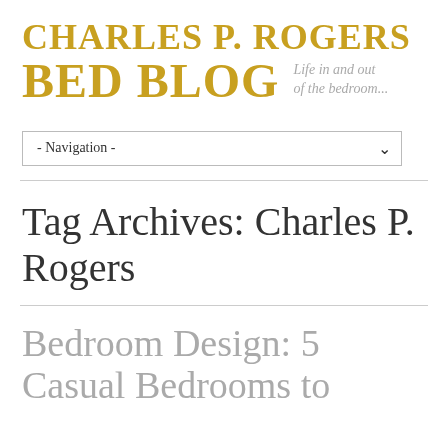CHARLES P. ROGERS BED BLOG Life in and out of the bedroom...
[Figure (other): Navigation dropdown menu with '- Navigation -' label and chevron arrow]
Tag Archives: Charles P. Rogers
Bedroom Design: 5 Casual Bedrooms to